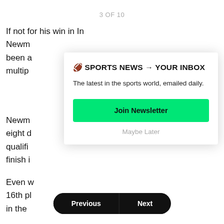3 OF 10
If not for his win in Indianapolis this past weekend, Ryan Newman been a multip
Newman eight d qualifi finish i
Even w 16th pl in the
[Figure (infographic): Newsletter signup modal overlay with title '🏈 SPORTS NEWS → YOUR INBOX', subtitle 'The latest in the sports world, emailed daily.', a green 'Join Newsletter' button, and 'Maybe Later' link]
Previous
Next